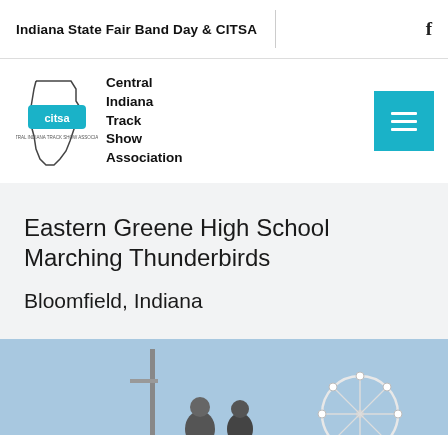Indiana State Fair Band Day & CITSA
[Figure (logo): CITSA logo with outline of Indiana state and 'citsa' text, alongside text reading 'Central Indiana Track Show Association']
Eastern Greene High School Marching Thunderbirds
Bloomfield, Indiana
[Figure (photo): Outdoor photo showing people near a ferris wheel against a blue sky]